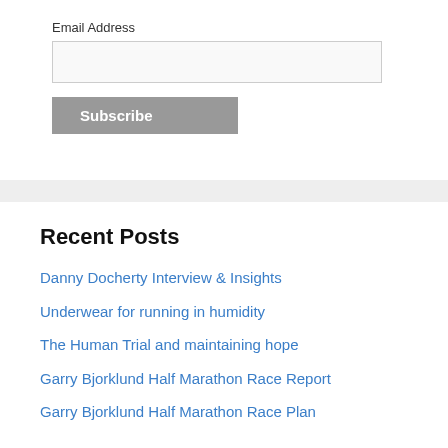Email Address
Recent Posts
Danny Docherty Interview & Insights
Underwear for running in humidity
The Human Trial and maintaining hope
Garry Bjorklund Half Marathon Race Report
Garry Bjorklund Half Marathon Race Plan